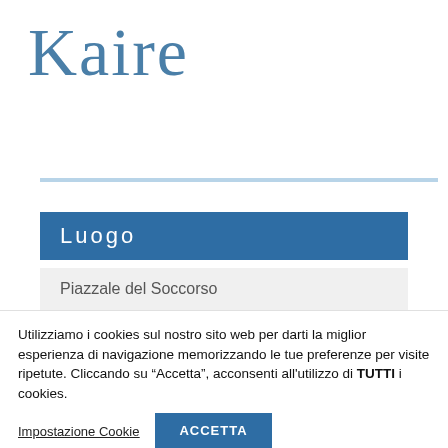[Figure (map): Google Maps view of Ischia island, Italy, showing Sant'Angelo, SP270, Casamicciola, Chiesa del Soccorso, Giardini Poseidon, Giardini la Mortella, Castello Aragonese, and surrounding blue sea area.]
Kaire
Luogo
Piazzale del Soccorso
Utilizziamo i cookies sul nostro sito web per darti la miglior esperienza di navigazione memorizzando le tue preferenze per visite ripetute. Cliccando su “Accetta”, acconsenti all'utilizzo di TUTTI i cookies.
Impostazione Cookie
ACCETTA